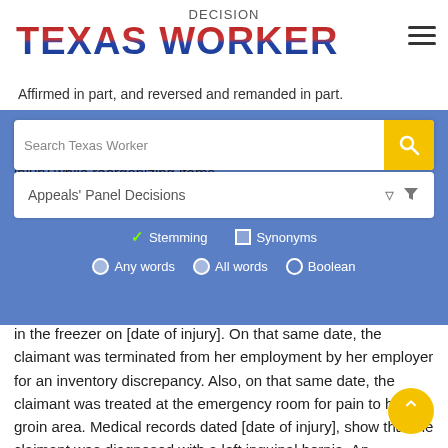DECISION
[Figure (logo): Texas Worker logo with stylized text in red, white and blue flag pattern]
Affirmed in part, and reversed and remanded in part.
[Figure (screenshot): Search interface overlay with search box showing 'Search Texas Worker', Appeals Panel Decisions dropdown, Stemming/Synonyms checkboxes, Any words/All words/Boolean radio buttons]
The claimant testified that she was employed as a general manager at a restaurant and that she sustained a left hernia injury while reorganizing items in the freezer on [date of injury]. On that same date, the claimant was terminated from her employment by her employer for an inventory discrepancy. Also, on that same date, the claimant was treated at the emergency room for pain to her left groin area. Medical records dated [date of injury], show that the claimant was diagnosed with a left inguinal hernia. An operative report dated July 11, 2013, shows that the claimant underwent a left inguinal hernia repair on July 11, 2013.